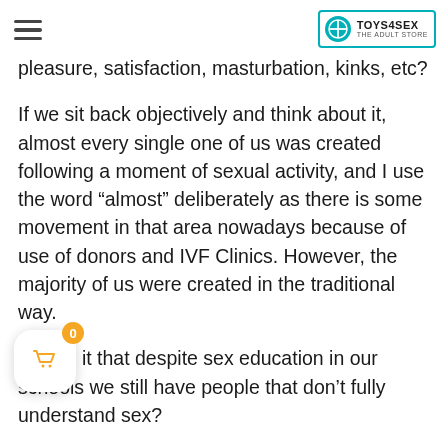TOYS4SEX THE ADULT STORE
pleasure, satisfaction, masturbation, kinks, etc?
If we sit back objectively and think about it, almost every single one of us was created following a moment of sexual activity, and I use the word “almost” deliberately as there is some movement in that area nowadays because of use of donors and IVF Clinics. However, the majority of us were created in the traditional way.
Why is it that despite sex education in our schools we still have people that don’t fully understand sex?
s it that we have laws relating to discrimination and inclusiveness for all gender types, yet stigmas are